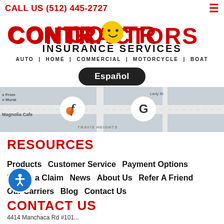CALL US (512) 445-2727
CONTRACTORS INSURANCE SERVICES
AUTO | HOME | COMMERCIAL | MOTORCYCLE | BOAT
Español
[Figure (map): Google Maps strip showing Travis Heights area in Austin, TX with Facebook and Google social icons overlaid]
RESOURCES
Products
Customer Service
Payment Options
Report a Claim
News
About Us
Refer A Friend
Our Carriers
Blog
Contact Us
CONTACT US